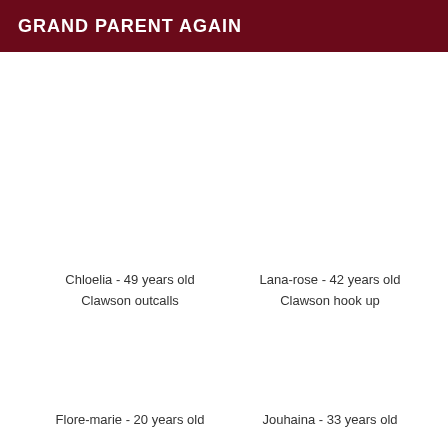GRAND PARENT AGAIN
Chloelia - 49 years old
Clawson outcalls
Lana-rose - 42 years old
Clawson hook up
Flore-marie - 20 years old
Jouhaina - 33 years old